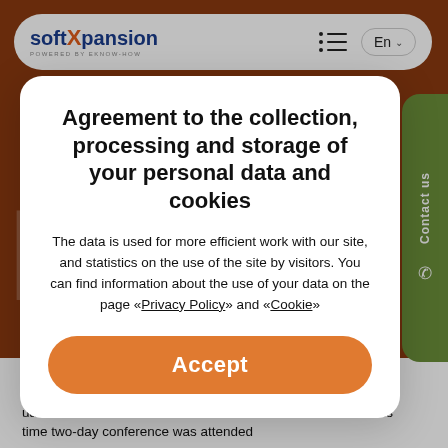[Figure (screenshot): SoftXpansion website navigation bar with logo, hamburger menu, and language selector showing 'En']
Agreement to the collection, processing and storage of your personal data and cookies
The data is used for more efficient work with our site, and statistics on the use of the site by visitors. You can find information about the use of your data on the page «Privacy Policy» and «Cookie»
Accept
ual e-Governance conference Tallinn for the second time. This time two-day conference was attended